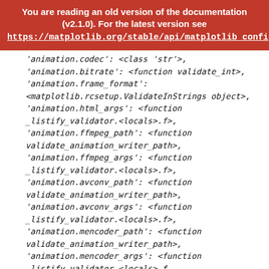You are reading an old version of the documentation (v2.1.0). For the latest version see https://matplotlib.org/stable/api/matplotlib_configuration_api.html
'animation.codec': <class 'str'>,
'animation.bitrate': <function validate_int>,
'animation.frame_format':
<matplotlib.rcsetup.ValidateInStrings object>,
'animation.html_args': <function
_listify_validator.<locals>.f>,
'animation.ffmpeg_path': <function
validate_animation_writer_path>,
'animation.ffmpeg_args': <function
_listify_validator.<locals>.f>,
'animation.avconv_path': <function
validate_animation_writer_path>,
'animation.avconv_args': <function
_listify_validator.<locals>.f>,
'animation.mencoder_path': <function
validate_animation_writer_path>,
'animation.mencoder_args': <function
_listify_validator.<locals>.f>,